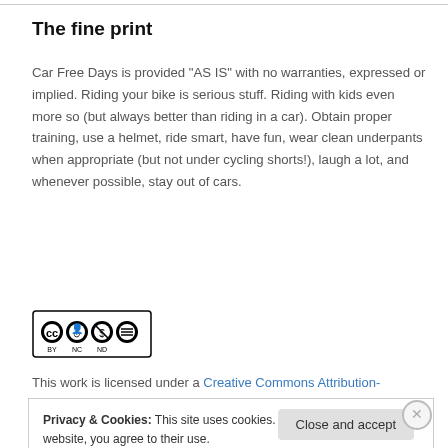The fine print
Car Free Days is provided “AS IS” with no warranties, expressed or implied. Riding your bike is serious stuff. Riding with kids even more so (but always better than riding in a car). Obtain proper training, use a helmet, ride smart, have fun, wear clean underpants when appropriate (but not under cycling shorts!), laugh a lot, and whenever possible, stay out of cars.
[Figure (logo): Creative Commons BY NC ND license badge]
This work is licensed under a Creative Commons Attribution-
Privacy & Cookies: This site uses cookies. By continuing to use this website, you agree to their use.
To find out more, including how to control cookies, see here: Cookie Policy